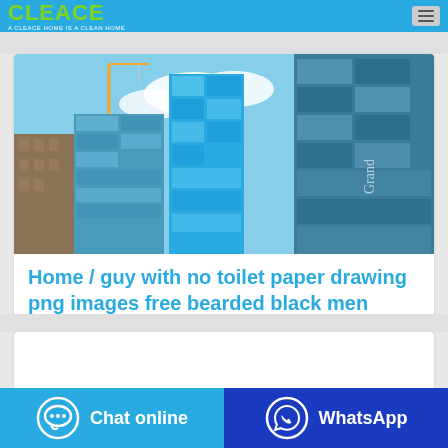CLEACE · A CLEACE HOME IS A CLEAN HOME
[Figure (photo): Looking-up view of modern glass skyscrapers against a blue sky with clouds]
Home / guy with no toilet paper drawing png images free bearded black men
Chat online
WhatsApp